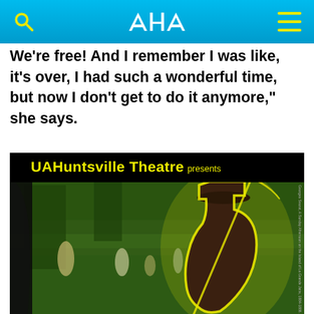UAH (logo)
We're free! And I remember I was like, it's over, I had such a wonderful time, but now I don't get to do it anymore," she says.
[Figure (photo): UAHuntsville Theatre poster featuring a dark silhouette of a figure in a top hat with a yellow glowing outline, set against a painterly impressionist park scene background (referencing Georges Seurat's A Sunday Afternoon on the Island of La Grande Jatte). The poster text reads 'UAHuntsville Theatre presents' in bold yellow letters.]